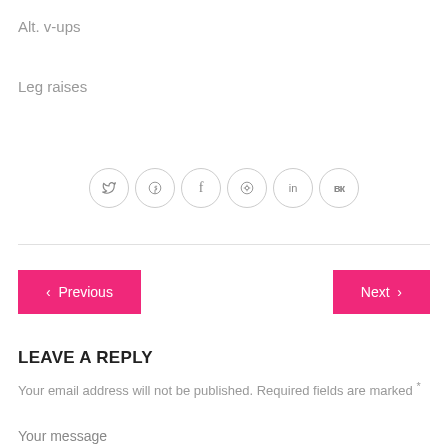Alt. v-ups
Leg raises
[Figure (other): Social media share icons: Twitter, Google+, Facebook, Pinterest, LinkedIn, VK — each in a circle]
< Previous   Next >
LEAVE A REPLY
Your email address will not be published. Required fields are marked *
Your message